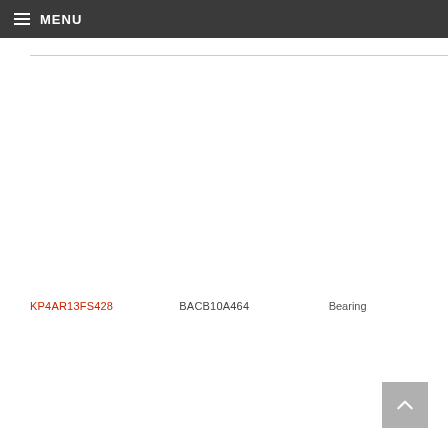MENU
KP4AR13FS428
BACB10A464
Bearing